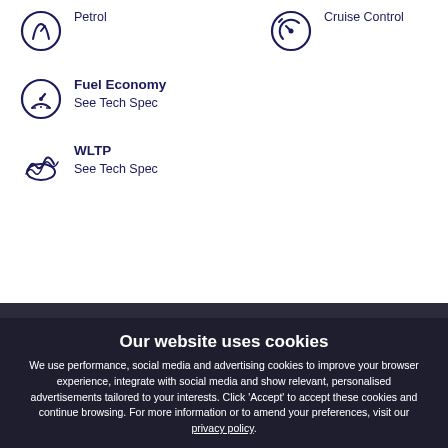Petrol
Cruise Control
Fuel Economy
See Tech Spec
WLTP
See Tech Spec
Did you know?
Our website uses cookies
We use performance, social media and advertising cookies to improve your browser experience, integrate with social media and show relevant, personalised advertisements tailored to your interests. Click ‘Accept’ to accept these cookies and continue browsing. For more information or to amend your preferences, visit our privacy policy.
Change Settings
✓ ACCEPT